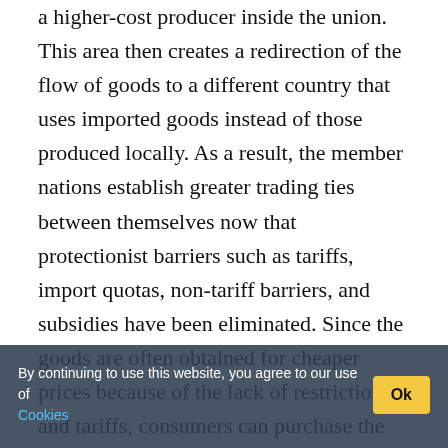a higher-cost producer inside the union. This area then creates a redirection of the flow of goods to a different country that uses imported goods instead of those produced locally. As a result, the member nations establish greater trading ties between themselves now that protectionist barriers such as tariffs, import quotas, non-tariff barriers, and subsidies have been eliminated. Since the goods are often obtained for cheaper prices because of the lack of restrictions and tariffs, consumers can purchase the goods at a reduced price. The result is an increase in trade among member nations in the good or service of each nation's comparative advantage. In other words, an increase in trade causes greater revenues, (more profitable). It is important to point
By continuing to use this website, you agree to our use of Cookies